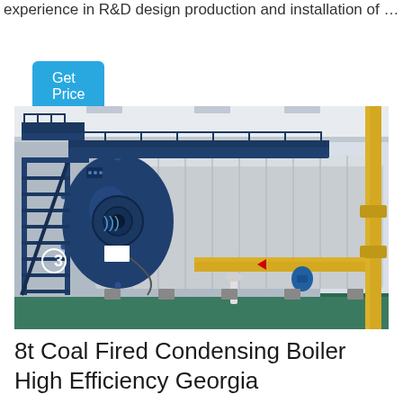experience in R&D design production and installation of …
Get Price
[Figure (photo): Industrial coal-fired condensing boiler in a factory setting. Large blue cylindrical boiler with circular front end, metal staircases and walkways on the left, yellow gas pipes on the right, green epoxy floor, white insulated boiler body, industrial piping.]
8t Coal Fired Condensing Boiler High Efficiency Georgia